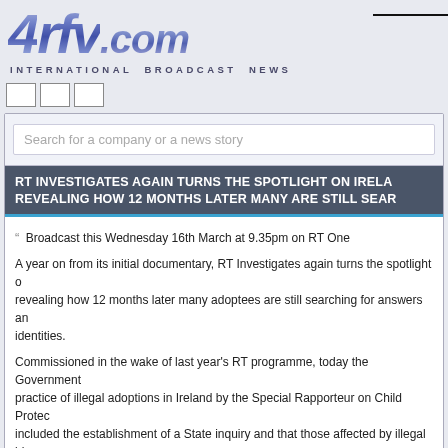[Figure (logo): 4rfv.com International Broadcast News logo in blue/purple gradient with italic bold text]
INTERNATIONAL BROADCAST NEWS
[Figure (other): Three empty navigation checkbox squares]
Search for a company or a news story
RT INVESTIGATES AGAIN TURNS THE SPOTLIGHT ON IRELAND, REVEALING HOW 12 MONTHS LATER MANY ARE STILL SEARCHING
Broadcast this Wednesday 16th March at 9.35pm on RT One
A year on from its initial documentary, RT Investigates again turns the spotlight on Ireland, revealing how 12 months later many adoptees are still searching for answers and their identities.
Commissioned in the wake of last year's RT programme, today the Government... practice of illegal adoptions in Ireland by the Special Rapporteur on Child Protection... included the establishment of a State inquiry and that those affected by illegal births... State apology
In March last year, RT Investigates! acclaimed documentary told the story of...